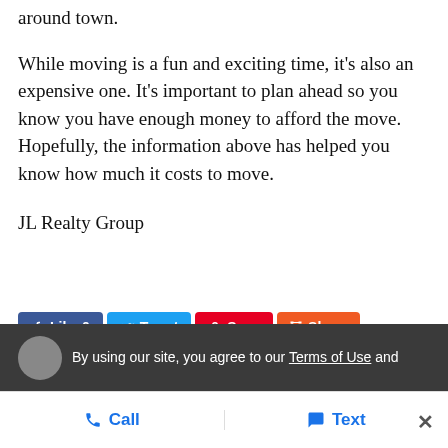around town.
While moving is a fun and exciting time, it's also an expensive one. It's important to plan ahead so you know you have enough money to afford the move. Hopefully, the information above has helped you know how much it costs to move.
JL Realty Group
[Figure (other): Social sharing buttons: Like 0 (Facebook), Tweet, Save (Pinterest), Share]
By using our site, you agree to our Terms of Use and
Call   Text   ×